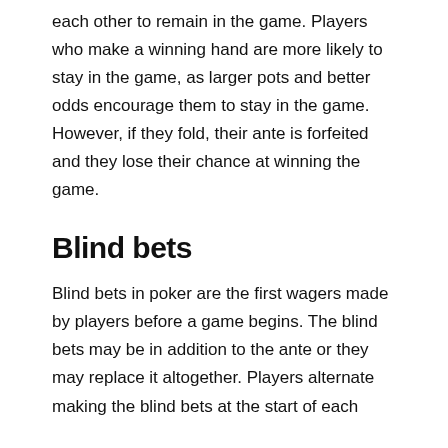each other to remain in the game. Players who make a winning hand are more likely to stay in the game, as larger pots and better odds encourage them to stay in the game. However, if they fold, their ante is forfeited and they lose their chance at winning the game.
Blind bets
Blind bets in poker are the first wagers made by players before a game begins. The blind bets may be in addition to the ante or they may replace it altogether. Players alternate making the blind bets at the start of each